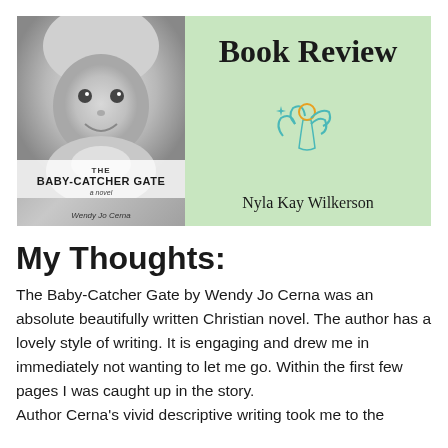[Figure (illustration): Book review header banner with light green background. Left side shows book cover of 'The Baby-Catcher Gate' by Wendy Jo Cerna featuring a black-and-white photo of a smiling baby. Right side shows 'Book Review' title text, a small line-art angel illustration in teal and gold, and the reviewer name 'Nyla Kay Wilkerson'.]
My Thoughts:
The Baby-Catcher Gate by Wendy Jo Cerna was an absolute beautifully written Christian novel. The author has a lovely style of writing. It is engaging and drew me in immediately not wanting to let me go. Within the first few pages I was caught up in the story.
Author Cerna's vivid descriptive writing took me to the